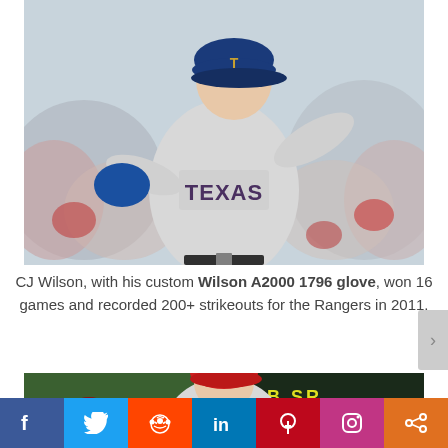[Figure (photo): A Texas Rangers pitcher (CJ Wilson) in a gray TEXAS jersey and blue cap, winding up to throw, with a blue fielding glove. Crowd visible in background.]
CJ Wilson, with his custom Wilson A2000 1796 glove, won 16 games and recorded 200+ strikeouts for the Rangers in 2011.
[Figure (photo): Partial photo of another baseball pitcher in a red cap and gray uniform, arms extended in pitching motion.]